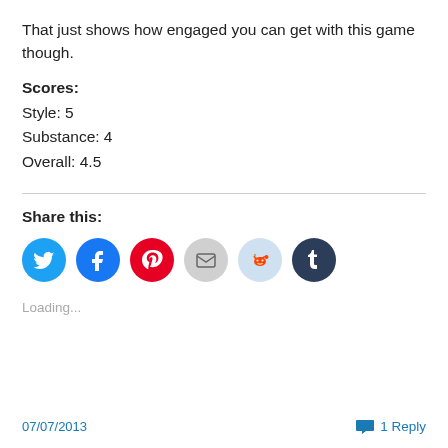That just shows how engaged you can get with this game though.
Scores:
Style: 5
Substance: 4
Overall: 4.5
Share this:
[Figure (infographic): Social sharing buttons: Twitter (blue), Facebook (blue), Pinterest (red), Email (grey), Reddit (light blue), Tumblr (dark navy)]
Loading...
07/07/2013    1 Reply